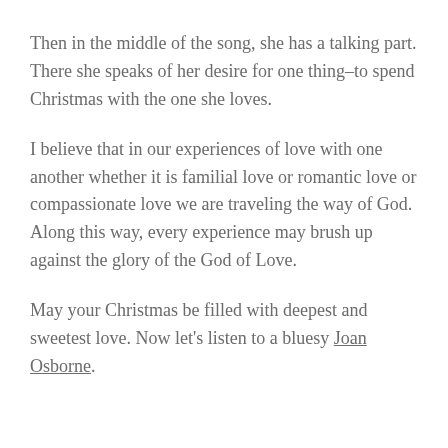Then in the middle of the song, she has a talking part. There she speaks of her desire for one thing–to spend Christmas with the one she loves.
I believe that in our experiences of love with one another whether it is familial love or romantic love or compassionate love we are traveling the way of God. Along this way, every experience may brush up against the glory of the God of Love.
May your Christmas be filled with deepest and sweetest love. Now let's listen to a bluesy Joan Osborne.